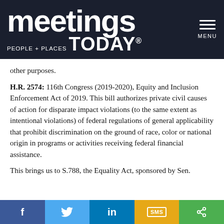meetings PEOPLE + PLACES TODAY® MENU
other purposes.
H.R. 2574: 116th Congress (2019-2020), Equity and Inclusion Enforcement Act of 2019. This bill authorizes private civil causes of action for disparate impact violations (to the same extent as intentional violations) of federal regulations of general applicability that prohibit discrimination on the ground of race, color or national origin in programs or activities receiving federal financial assistance.
This brings us to S.788, the Equality Act, sponsored by Sen.
f  [twitter]  in  SMS  [share]